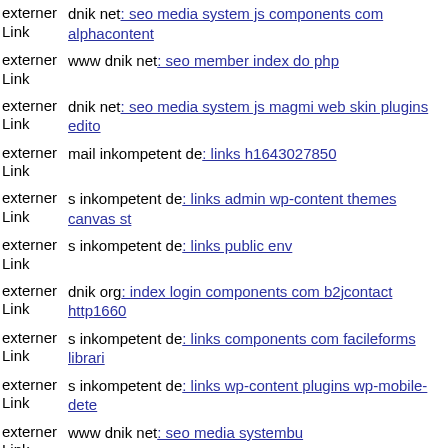externer Link dnik net: seo media system js components com alphacontent
externer Link www dnik net: seo member index do php
externer Link dnik net: seo media system js magmi web skin plugins editor
externer Link mail inkompetent de: links h1643027850
externer Link s inkompetent de: links admin wp-content themes canvas st
externer Link s inkompetent de: links public env
externer Link dnik org: index login components com b2jcontact http1660
externer Link s inkompetent de: links components com facileforms librari
externer Link s inkompetent de: links wp-content plugins wp-mobile-dete
externer Link www dnik net: seo media systembu
externer Link dnik net: seo js webforms upload components com b2jconta
externer Link